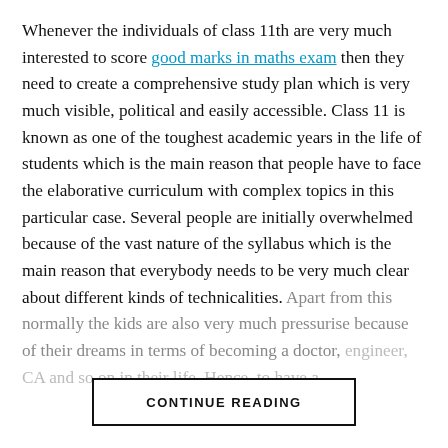Whenever the individuals of class 11th are very much interested to score good marks in maths exam then they need to create a comprehensive study plan which is very much visible, political and easily accessible. Class 11 is known as one of the toughest academic years in the life of students which is the main reason that people have to face the elaborative curriculum with complex topics in this particular case. Several people are initially overwhelmed because of the vast nature of the syllabus which is the main reason that everybody needs to be very much clear about different kinds of technicalities. Apart from this normally the kids are also very much pressurise because of their dreams in terms of becoming a doctor, engineer, CA and so on in their life. Hence, to have a
CONTINUE READING